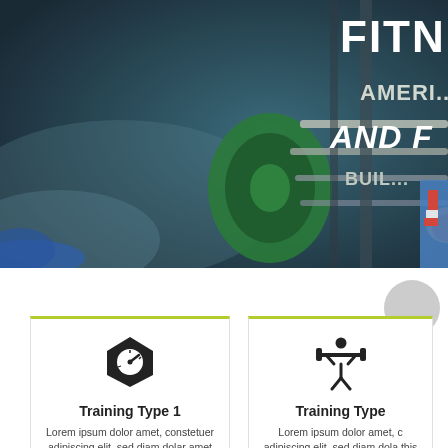[Figure (photo): Gym/fitness photo showing a person lifting weights on a barbell machine. Dark, moody lighting with teal/blue tones. Green weight plate visible. Text overlay in upper right reads 'FITNESS' and 'AND F' in bold white, with 'AMERI...' and 'BUIL...' partially visible.]
FITNESS
AND F
[Figure (illustration): Card with a scale/weight icon (black pentagon shape with speedometer face) above 'Training Type 1' heading and lorem ipsum text.]
Training Type 1
Lorem ipsum dolor amet, constetuer adipiscing elit, sed diam dolar amet elit this is sample text
[Figure (illustration): Card with a weightlifter stick figure icon (person lifting barbell overhead) above 'Training Type' heading and lorem ipsum text.]
Training Type
Lorem ipsum dolor amet, c adipiscing elit, sed diam dola this is sample text